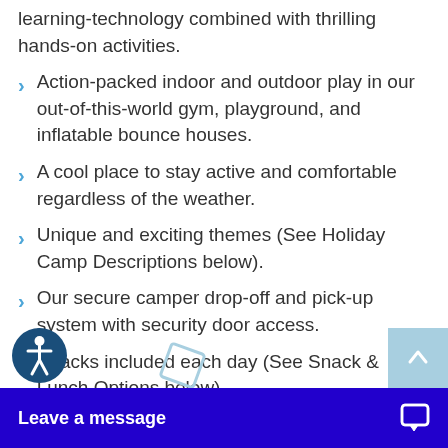learning-technology combined with thrilling hands-on activities.
Action-packed indoor and outdoor play in our out-of-this-world gym, playground, and inflatable bounce houses.
A cool place to stay active and comfortable regardless of the weather.
Unique and exciting themes (See Holiday Camp Descriptions below).
Our secure camper drop-off and pick-up system with security door access.
Snacks included each day (See Snack & Lunch Options below)